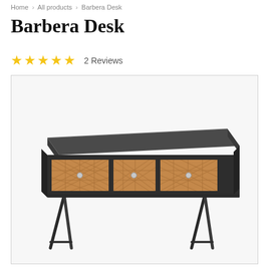Home > All products > Barbera Desk
Barbera Desk
★★★★★  2 Reviews
[Figure (photo): Product photo of the Barbera Desk, a mid-century modern style writing desk with a dark metal frame featuring hairpin-style legs, and three drawers with decorative parquet wood veneer fronts and small round knobs.]